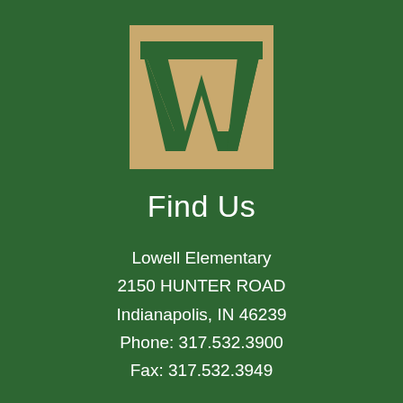[Figure (logo): School logo: tan/gold square with a dark green stylized letter W inside it]
Find Us
Lowell Elementary
2150 HUNTER ROAD
Indianapolis, IN 46239
Phone: 317.532.3900
Fax: 317.532.3949
Hours: 8:05 - 3:05